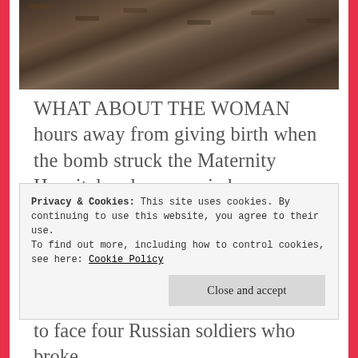[Figure (photo): Photograph of dark soil and debris, partially visible at top of page]
WHAT ABOUT THE WOMAN hours away from giving birth when the bomb struck the Maternity Hospital and was carried away bleeding on a stretcher? She gave birth to a baby girl and is recovering.
Privacy & Cookies: This site uses cookies. By continuing to use this website, you agree to their use.
To find out more, including how to control cookies, see here: Cookie Policy
Close and accept
to face four Russian soldiers who broke